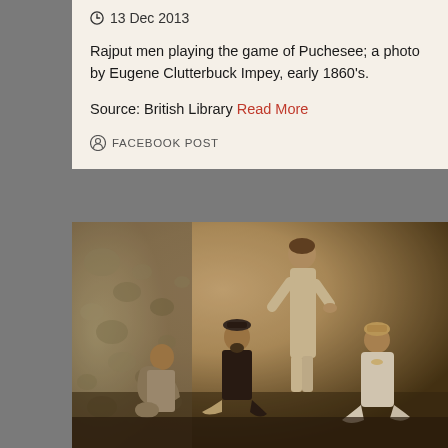13 Dec 2013
Rajput men playing the game of Puchesee; a photo by Eugene Clutterbuck Impey, early 1860's.
Source: British Library Read More
FACEBOOK POST
[Figure (photo): Sepia-toned photograph from the early 1860s showing four Rajput men. One man stands in the center-right wearing a long light-colored garment with his hand on his hip. Three men are seated on the ground around him — one on the left in a shawl, one in the center-left wearing dark clothing and a small hat, and one on the right in lighter clothing with a small turban. The background shows a textured wall on the left side.]